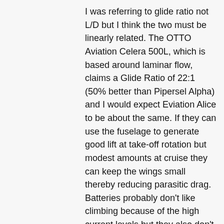I was referring to glide ratio not L/D but I think the two must be linearly related. The OTTO Aviation Celera 500L, which is based around laminar flow, claims a Glide Ratio of 22:1 (50% better than Pipersel Alpha) and I would expect Eviation Alice to be about the same. If they can use the fuselage to generate good lift at take-off rotation but modest amounts at cruise they can keep the wings small thereby reducing parasitic drag. Batteries probably don't like climbing because of the high current levels but they also don't need air (being anaerobic) so theoretically an electric aircraft can fly in the upper stratosphere free of parasitic drag only using power for induced drag.
This is probably behind Elon Musks supersonic transcontinental eVTOL proposal.
I envisage it as being somewhat like the Lilium Jet: very small wings and undercarriage can be used to